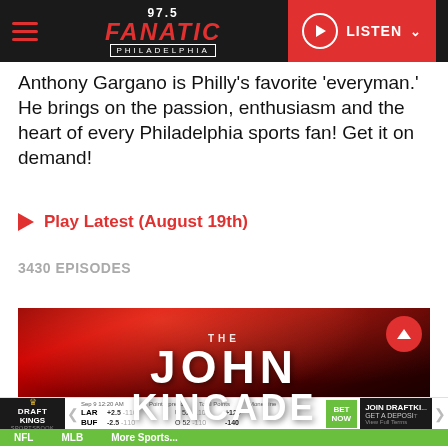97.5 Fanatic Philadelphia | LISTEN
Anthony Gargano is Philly's favorite 'everyman.' He brings on the passion, enthusiasm and the heart of every Philadelphia sports fan! Get it on demand!
▶ Play Latest (August 19th)
3430 EPISODES
[Figure (photo): Promotional image for The John Kincade show with red dramatic lighting and large white text reading THE JOHN KINCADE]
NFL   MLB   More Sports...
DraftKings Sportsbook | Sep 9 12:20 AM | Point Spread | Total Points | Moneyline | LAR +2.5 -110 U52 -110 +120 | BUF -2.5 -110 O52 -110 -140 | BET NOW | JOIN DRAFTKINGS GET A DEPOSIT | View Full Terms